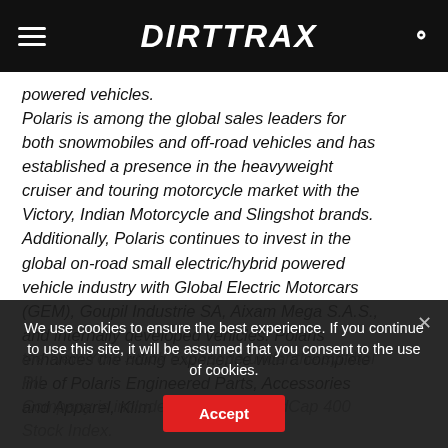DIRTTRAX
powered vehicles. Polaris is among the global sales leaders for both snowmobiles and off-road vehicles and has established a presence in the heavyweight cruiser and touring motorcycle market with the Victory, Indian Motorcycle and Slingshot brands. Additionally, Polaris continues to invest in the global on-road small electric/hybrid powered vehicle industry with Global Electric Motorcars (GEM), Goupil Industrie SA, Aixam Mega S.A.S., and internally developed vehicles. Polaris enhances the riding experience with a complete line of Polaris Engineered Parts, Accessories and Apparel, Klim
We use cookies to ensure the best experience. If you continue to use this site, it will be assumed that you consent to the use of cookies.
the New York Stock Exchange under the symbol PII. Company is included in the S&P MidCap 400 Stock Index.